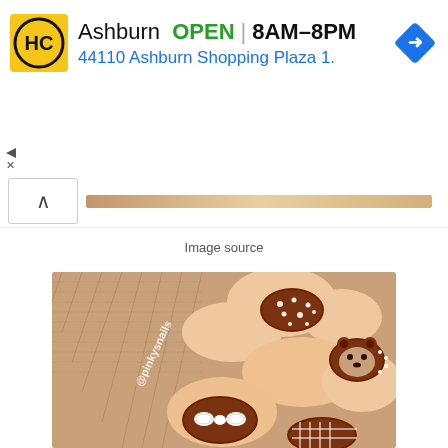[Figure (screenshot): Advertisement banner for HC (Hardware/Home store) in Ashburn showing OPEN status 8AM-8PM, address 44110 Ashburn Shopping Plaza 1., with navigation icon and ad controls]
[Figure (photo): Close-up photo of decorated nail art featuring brown nails with white polka dots, bear face design, bow design, and plaid pattern. Watermark '@pinkysnails' visible. Nails resting on a knit sweater.]